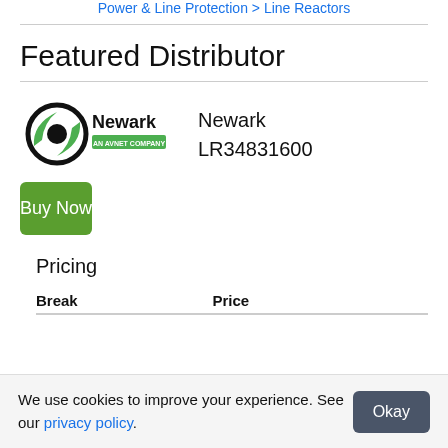Power & Line Protection > Line Reactors
Featured Distributor
[Figure (logo): Newark - An Avnet Company logo with green and black swoosh graphic]
Newark
LR34831600
Buy Now
Pricing
| Break | Price |
| --- | --- |
We use cookies to improve your experience. See our privacy policy.